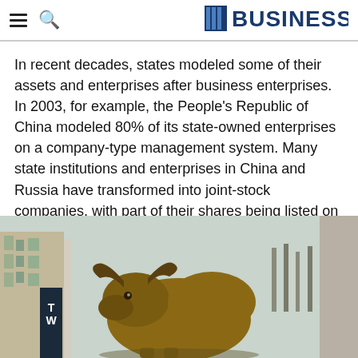BUSINESS
In recent decades, states modeled some of their assets and enterprises after business enterprises. In 2003, for example, the People's Republic of China modeled 80% of its state-owned enterprises on a company-type management system. Many state institutions and enterprises in China and Russia have transformed into joint-stock companies, with part of their shares being listed on public stock markets.
[Figure (photo): Photograph of the Charging Bull bronze statue on Wall Street, with city buildings and bare trees visible in the background.]